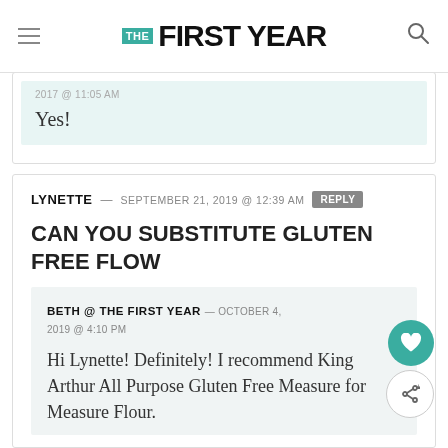THE FIRST YEAR
Yes!
LYNETTE — SEPTEMBER 21, 2019 @ 12:39 AM
CAN YOU SUBSTITUTE GLUTEN FREE FLOW
BETH @ THE FIRST YEAR — OCTOBER 4, 2019 @ 4:10 PM
Hi Lynette! Definitely! I recommend King Arthur All Purpose Gluten Free Measure for Measure Flour.